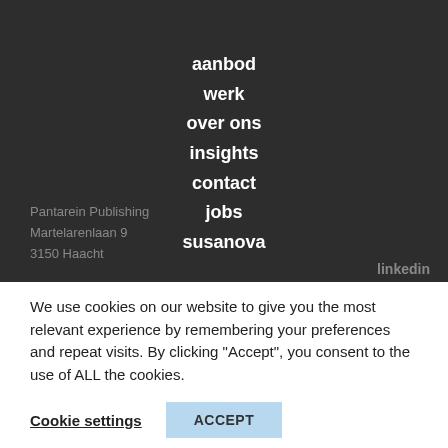aanbod
werk
over ons
insights
contact
jobs
susanova
Pantarein Publishing
Martelarenlaan 9
3150 Haacht
linkedin
We use cookies on our website to give you the most relevant experience by remembering your preferences and repeat visits. By clicking “Accept”, you consent to the use of ALL the cookies.
Cookie settings    ACCEPT